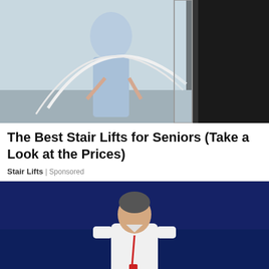[Figure (photo): Woman in light blue dress standing near glass doors/elevator]
The Best Stair Lifts for Seniors (Take a Look at the Prices)
Stair Lifts | Sponsored
[Figure (photo): Man in white shirt with red lanyard standing on a sports field with dark blue background]